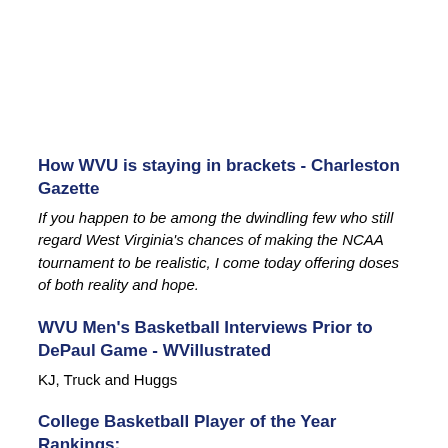How WVU is staying in brackets - Charleston Gazette
If you happen to be among the dwindling few who still regard West Virginia's chances of making the NCAA tournament to be realistic, I come today offering doses of both reality and hope.
WVU Men's Basketball Interviews Prior to DePaul Game - WVillustrated
KJ, Truck and Huggs
College Basketball Player of the Year Rankings: